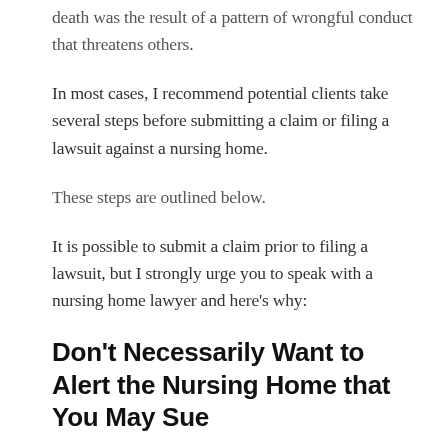death was the result of a pattern of wrongful conduct that threatens others.
In most cases, I recommend potential clients take several steps before submitting a claim or filing a lawsuit against a nursing home.
These steps are outlined below.
It is possible to submit a claim prior to filing a lawsuit, but I strongly urge you to speak with a nursing home lawyer and here’s why:
Don’t Necessarily Want to Alert the Nursing Home that You May Sue
First, it’s important to get as much information as you can